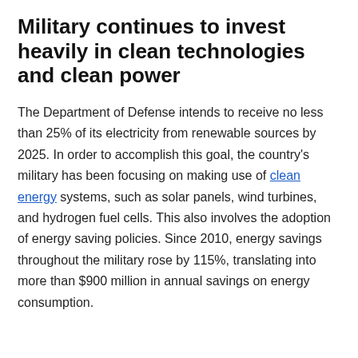Military continues to invest heavily in clean technologies and clean power
The Department of Defense intends to receive no less than 25% of its electricity from renewable sources by 2025. In order to accomplish this goal, the country's military has been focusing on making use of clean energy systems, such as solar panels, wind turbines, and hydrogen fuel cells. This also involves the adoption of energy saving policies. Since 2010, energy savings throughout the military rose by 115%, translating into more than $900 million in annual savings on energy consumption.